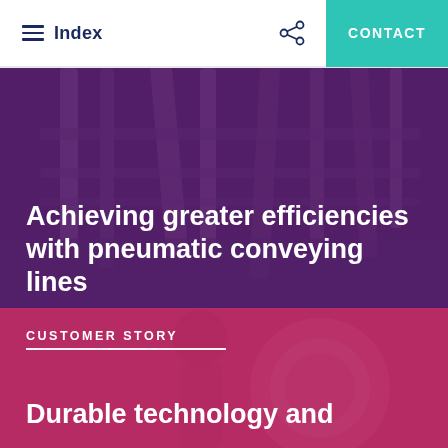Index | CONTACT
Achieving greater efficiencies with pneumatic conveying lines
CUSTOMER STORY
Durable technology and